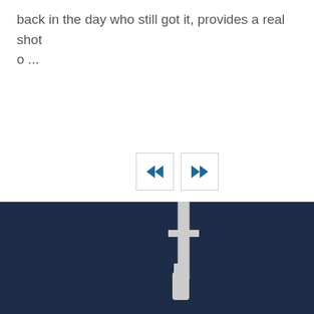back in the day who still got it, provides a real shot o ...
[Figure (other): Navigation buttons: rewind (double left arrow) and fast-forward (double right arrow) in bordered boxes]
[Figure (logo): Gotham City Networking, Inc. logo: a street sign pole with a vertical banner reading GOTHAM and a horizontal sign reading CITY NETWORKING, INC., with a street lamp, on a dark navy footer background]